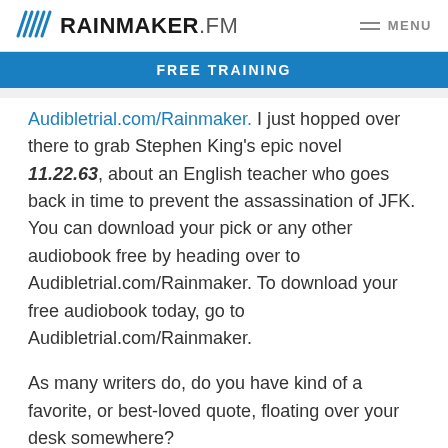RAINMAKER.FM  MENU
FREE TRAINING
Audibletrial.com/Rainmaker. I just hopped over there to grab Stephen King's epic novel 11.22.63, about an English teacher who goes back in time to prevent the assassination of JFK. You can download your pick or any other audiobook free by heading over to Audibletrial.com/Rainmaker. To download your free audiobook today, go to Audibletrial.com/Rainmaker.
As many writers do, do you have kind of a favorite, or best-loved quote, floating over your desk somewhere?
Jennifer Weiner: I do. Interestingly enough, somebody asked me a different question this